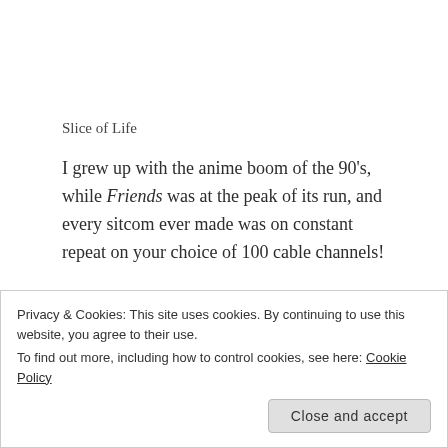Slice of Life
I grew up with the anime boom of the 90's, while Friends was at the peak of its run, and every sitcom ever made was on constant repeat on your choice of 100 cable channels!
As a result, even though I never liked the genre much even at its peak. I have had a very rounded and
Privacy & Cookies: This site uses cookies. By continuing to use this website, you agree to their use.
To find out more, including how to control cookies, see here: Cookie Policy
Close and accept